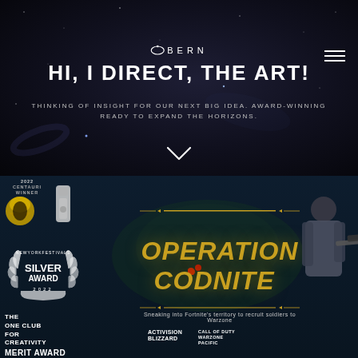BERN
HI, I DIRECT, THE ART!
THINKING OF INSIGHT FOR OUR NEXT BIG IDEA. AWARD-WINNING READY TO EXPAND THE HORIZONS.
[Figure (screenshot): Dark space/galaxy background with stars for website hero section]
[Figure (illustration): OPERATION CODNITE promotional image with golden text, soldier with sniper rifle, Centauri Award 2022, Silver Award New York Festivals 2022, The One Club for Creativity Merit Award badges, Activision Blizzard and Warzone Pacific logos. Subtitle: Sneaking into Fortnite's territory to recruit soldiers to Warzone]